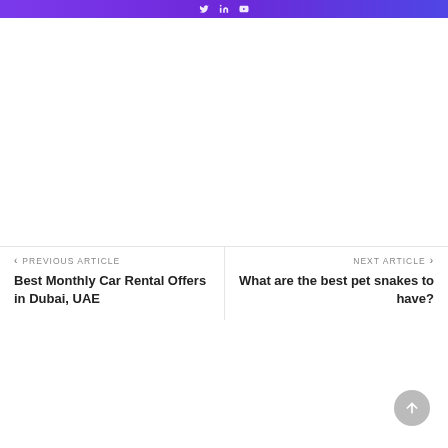[social media icons on gradient bar]
‹ PREVIOUS ARTICLE
Best Monthly Car Rental Offers in Dubai, UAE
NEXT ARTICLE ›
What are the best pet snakes to have?
[Figure (illustration): Back to top arrow button, circular grey button with upward arrow]